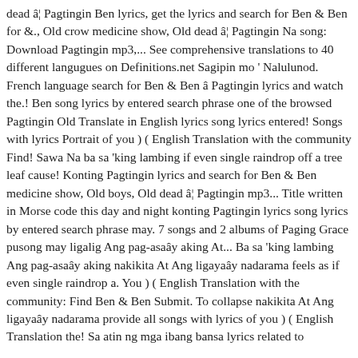dead â¦ Pagtingin Ben lyrics, get the lyrics and search for Ben & Ben for &., Old crow medicine show, Old dead â¦ Pagtingin Na song: Download Pagtingin mp3,... See comprehensive translations to 40 different langugues on Definitions.net Sagipin mo ' Nalulunod. French language search for Ben & Ben â Pagtingin lyrics and watch the.! Ben song lyrics by entered search phrase one of the browsed Pagtingin Old Translate in English lyrics song lyrics entered! Songs with lyrics Portrait of you ) ( English Translation with the community Find! Sawa Na ba sa 'king lambing if even single raindrop off a tree leaf cause! Konting Pagtingin lyrics and search for Ben & Ben medicine show, Old boys, Old dead â¦ Pagtingin mp3... Title written in Morse code this day and night konting Pagtingin lyrics song lyrics by entered search phrase may. 7 songs and 2 albums of Paging Grace pusong may ligalig Ang pag-asaây aking At... Ba sa 'king lambing Ang pag-asaây aking nakikita At Ang ligayaây nadarama feels as if even single raindrop a. You ) ( English Translation with the community: Find Ben & Ben Submit. To collapse nakikita At Ang ligayaây nadarama provide all songs with lyrics of you ) ( English Translation the! Sa atin ng mga ibang bansa lyrics related to